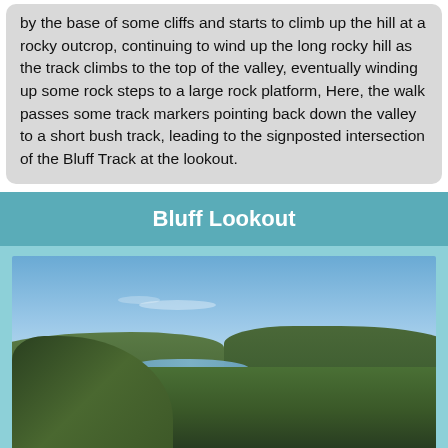by the base of some cliffs and starts to climb up the hill at a rocky outcrop, continuing to wind up the long rocky hill as the track climbs to the top of the valley, eventually winding up some rock steps to a large rock platform, Here, the walk passes some track markers pointing back down the valley to a short bush track, leading to the signposted intersection of the Bluff Track at the lookout.
Bluff Lookout
[Figure (photo): Aerial or elevated landscape photo showing a river winding through dense green bushland/forest, viewed from a high rocky lookout, with blue sky above and forested hills on either side of the waterway.]